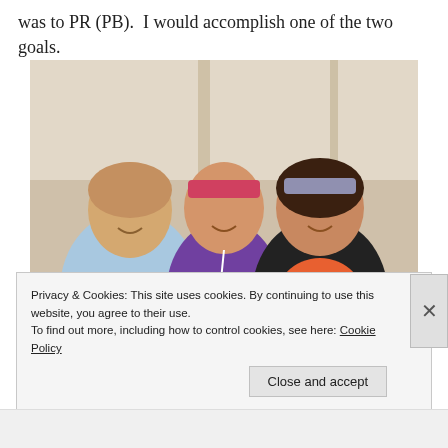was to PR (PB).  I would accomplish one of the two goals.
[Figure (photo): Three people posing together inside a tent or similar structure. On the left is a man in a light blue shirt with '2004 Marathon' text. In the middle is a woman wearing a pink headband and purple shirt. On the right is a woman wearing a gray headband and orange top with a black jacket.]
Privacy & Cookies: This site uses cookies. By continuing to use this website, you agree to their use.
To find out more, including how to control cookies, see here: Cookie Policy
Close and accept